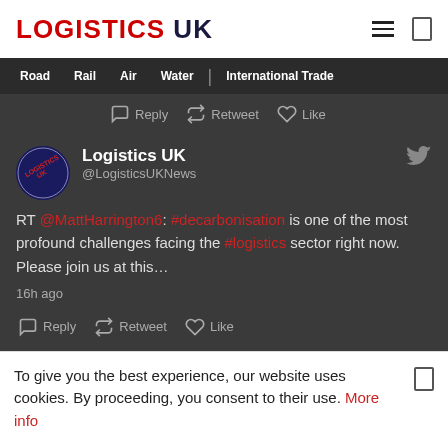LOGISTICS UK
Road  Rail  Air  Water  | International Trade
Reply  Retweet  Like
Logistics UK @LogisticsUKNews
RT @MattHarrington6: #decarbonisation is one of the most profound challenges facing the #logistics sector right now. Please join us at this...
16h ago
Reply  Retweet  Like
To give you the best experience, our website uses cookies. By proceeding, you consent to their use. More info